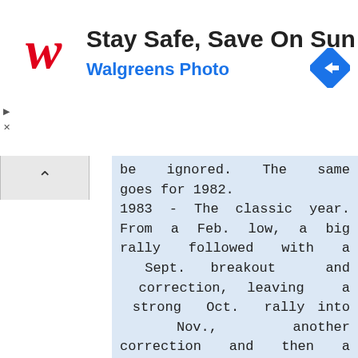[Figure (other): Walgreens advertisement banner: Stay Safe, Save On Sun Care - Walgreens Photo, with red cursive W logo and blue navigation arrow icon]
be ignored. The same goes for 1982.
1983 - The classic year. From a Feb. low, a big rally followed with a Sept. breakout and correction, leaving a strong Oct. rally into Nov., another correction and then a big rally carrying into May 1984.
This made 1984 and 1985 contra-seasonal years to be ignored.
1986 - A classic year